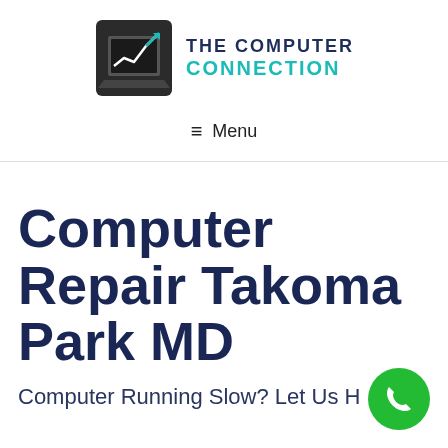[Figure (logo): The Computer Connection logo — dark square with laptop/chart graphic and teal arrow, with company name text beside it]
≡  Menu
Computer Repair Takoma Park MD
Computer Running Slow? Let Us H...